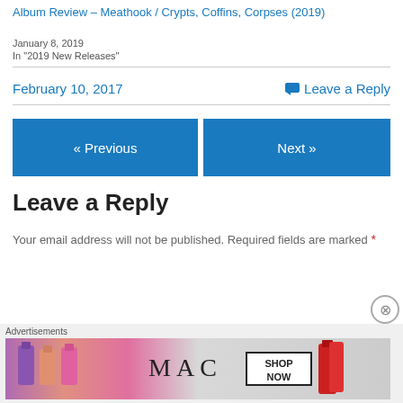Album Review – Meathook / Crypts, Coffins, Corpses (2019)
January 8, 2019
In "2019 New Releases"
February 10, 2017
Leave a Reply
Leave a Reply
Your email address will not be published. Required fields are marked *
[Figure (illustration): MAC cosmetics advertisement showing lipsticks and SHOP NOW button]